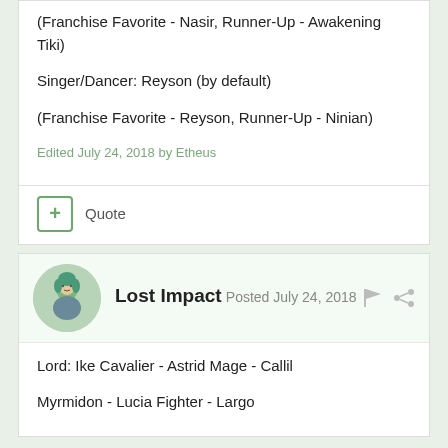(Franchise Favorite - Nasir, Runner-Up - Awakening Tiki)
Singer/Dancer: Reyson (by default)
(Franchise Favorite - Reyson, Runner-Up - Ninian)
Edited July 24, 2018 by Etheus
Quote
Lost Impact
Posted July 24, 2018
Lord: Ike
Cavalier - Astrid
Mage - Callil
Myrmidon - Lucia
Fighter - Largo